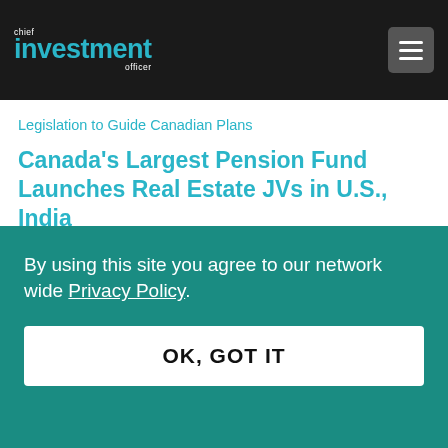chief investment officer
Legislation to Guide Canadian Plans
Canada's Largest Pension Fund Launches Real Estate JVs in U.S., India
Tags: Australia's Future Fund, CPPIB, Credit, equity, Geoff Rubin, New Zealand Superannuation Board, realestate, silos, teamwork
By using this site you agree to our network wide Privacy Policy.
OK, GOT IT